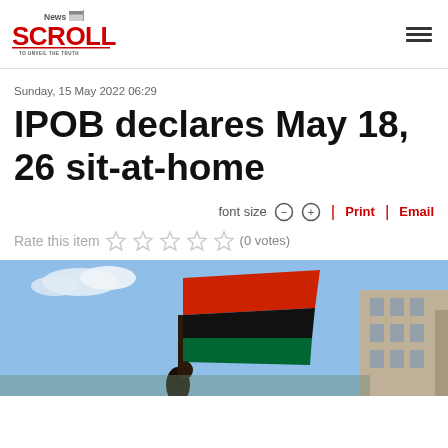News Scroll — TO UNVEIL THE TRUTH
Sunday, 15 May 2022 06:29
IPOB declares May 18, 26 sit-at-home
font size − + | Print | Email
Rate this item ☆ ☆ ☆ ☆ ☆ (0 votes)
[Figure (photo): People waving a red, black and green flag (Biafra flag) against a blue sky, with buildings in the background]